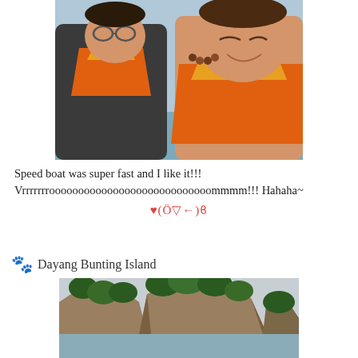[Figure (photo): Two people wearing orange life vests/jackets, smiling and posing together. One person is squishing the other's cheek with their hand. Both appear to be on a boat.]
Speed boat was super fast and I like it!!!
Vrrrrrrroooooooooooooooooooooooooooommmm!!! Hahaha~
♥(Ö▽←)ϐ
Dayang Bunting Island
[Figure (photo): Scenic view of a rocky limestone island covered with trees and lush green vegetation, with water in the foreground and an overcast sky.]